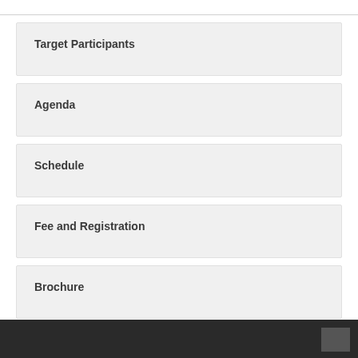Target Participants
Agenda
Schedule
Fee and Registration
Brochure
Have any inquiries? Check out the FAQ